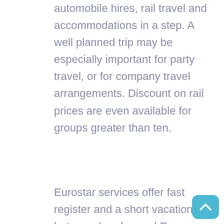automobile hires, rail travel and accommodations in a step. A well planned trip may be especially important for party travel, or for company travel arrangements. Discount on rail prices are even available for groups greater than ten.
Eurostar services offer fast register and a short vacation between London and Rome or Brussels. Eurostar lets you travel in high velocity comfort, with champagne, refreshments, and food available your seat in Leisure Pick and Business Premier Lessons. Business Premier may be a great choice for corporate hospitality or business happen to be general meetings, conferences and also PR events. Business Premier offers also faster check in services along with additional business